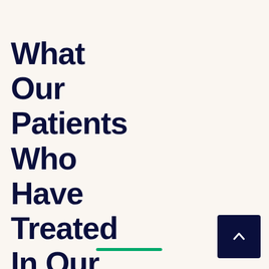What Our Patients Who Have Treated In Our Clinic Did Say?